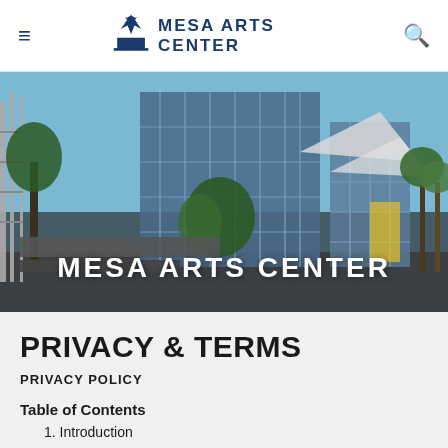≡  MESA ARTS CENTER  🔍
[Figure (photo): Exterior photo of Mesa Arts Center building showing modern glass architecture, shade structures, palm trees, and outdoor plaza. Large white bold text overlay reads MESA ARTS CENTER.]
PRIVACY & TERMS
PRIVACY POLICY
Table of Contents
1. Introduction